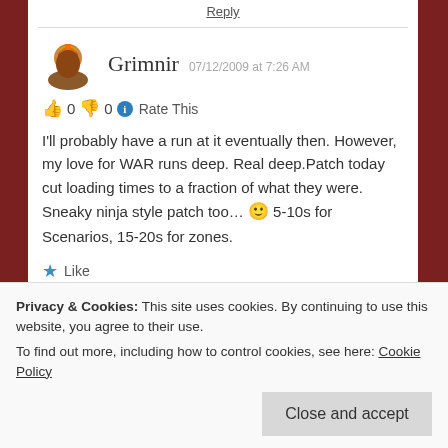Reply
Grimnir  07/12/2009 at 7:26 AM
👍 0  👎 0  ℹ Rate This
I'll probably have a run at it eventually then. However, my love for WAR runs deep. Real deep.Patch today cut loading times to a fraction of what they were. Sneaky ninja style patch too... 🙂 5-10s for Scenarios, 15-20s for zones.
★ Like
Reply
Privacy & Cookies: This site uses cookies. By continuing to use this website, you agree to their use.
To find out more, including how to control cookies, see here: Cookie Policy
Close and accept